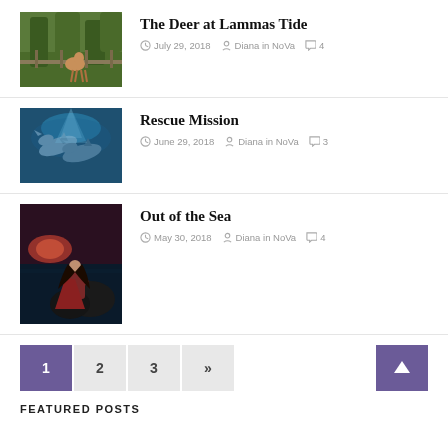[Figure (photo): Deer near a fence with green trees in background]
The Deer at Lammas Tide
July 29, 2018  Diana in NoVa  4
[Figure (photo): Two dolphins swimming underwater with blue light]
Rescue Mission
June 29, 2018  Diana in NoVa  3
[Figure (photo): Woman in red dress standing on rocks by the sea at dusk]
Out of the Sea
May 30, 2018  Diana in NoVa  4
1
2
3
»
FEATURED POSTS